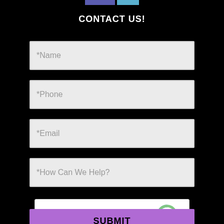[Figure (other): Two colored button/tab elements at top center — one blue-purple, one light blue]
CONTACT US!
*Name
*Phone
*Email
*How Can We Help?
[Figure (other): reCAPTCHA widget with checkbox, 'I'm not a robot' label, and Google reCAPTCHA logo with Privacy and Terms links]
SUBMIT